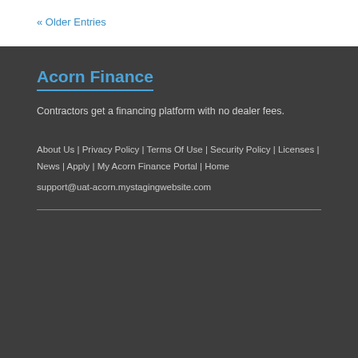« Older Entries
Acorn Finance
Contractors get a financing platform with no dealer fees.
About Us | Privacy Policy | Terms Of Use | Security Policy | Licenses | News | Apply | My Acorn Finance Portal | Home
support@uat-acorn.mystagingwebsite.com